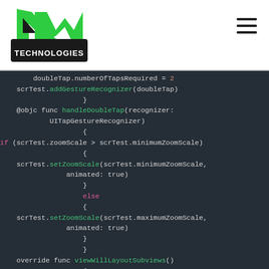[Figure (logo): 4My Technologies logo with green/black arrow graphic and 'TECHNOLOGIES' text on dark background]
[Figure (other): Hamburger menu icon (three horizontal lines)]
doubleTap.numberOfTapsRequired = 2
scrTest.addGestureRecognizer(doubleTap)
}
@objc func handleDoubleTap(recognizer:
UITapGestureRecognizer)
{
if (scrTest.zoomScale > scrTest.minimumZoomScale)
{
scrTest.setZoomScale(scrTest.minimumZoomScale,
animated: true)
}
else
{
scrTest.setZoomScale(scrTest.maximumZoomScale,
animated: true)
}
}
override func viewWillLayoutSubviews()
{
setZoomScale()